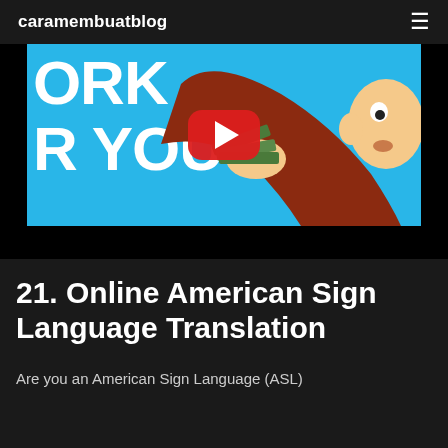caramembuatblog
[Figure (screenshot): YouTube video thumbnail showing a cartoon character in a red outfit holding green dollar bills/cash against a blue background, with partial text 'ORK' and 'R YOU' visible on the left side. A YouTube play button (red rounded rectangle with white triangle) is centered on the image. The bottom portion is a black bar.]
21. Online American Sign Language Translation
Are you an American Sign Language (ASL)